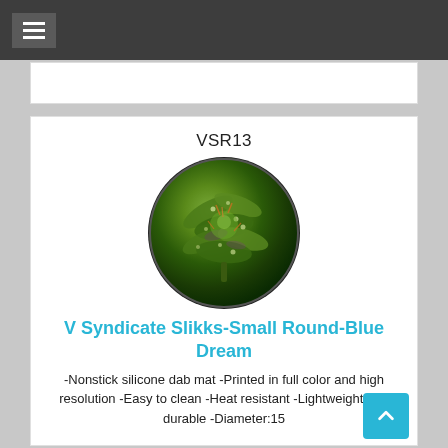Navigation menu
[Figure (photo): Close-up circular photo of a cannabis flower bud with trichomes, green and purple coloring]
VSR13
V Syndicate Slikks-Small Round-Blue Dream
-Nonstick silicone dab mat -Printed in full color and high resolution -Easy to clean -Heat resistant -Lightweight and durable -Diameter:15